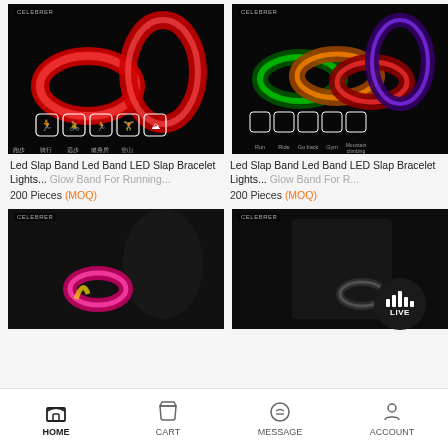[Figure (photo): LED slap band glowing red on black background with sport icons (run, ride, hike, gym, mountain climbing) shown below, Chinese text labels]
[Figure (photo): Multiple LED slap bands glowing in green, orange, red, blue/purple on black background with sport icons (Run, Ride, Go back, Gym, Mountain climbing)]
Led Slap Band Led Band LED Slap Bracelet Lights... Glow Band For Running...
200 Pieces (MOQ)
Led Slap Band Led Band LED Slap Bracelet Lights... Glow Band For...
200 Pieces (MOQ)
[Figure (photo): Person wearing pink/magenta LED light band on wrist/arm, dark background]
[Figure (photo): Person in dark jacket with LED band glowing, dark background]
HOME   CART   MESSAGE   ACCOUNT